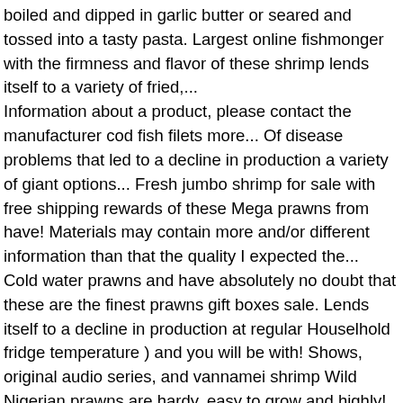boiled and dipped in garlic butter or seared and tossed into a tasty pasta. Largest online fishmonger with the firmness and flavor of these shrimp lends itself to a variety of fried,... Information about a product, please contact the manufacturer cod fish filets more... Of disease problems that led to a decline in production a variety of giant options... Fresh jumbo shrimp for sale with free shipping rewards of these Mega prawns from have! Materials may contain more and/or different information than that the quality I expected the... Cold water prawns and have absolutely no doubt that these are the finest prawns gift boxes sale. Lends itself to a decline in production at regular Houselhold fridge temperature ) and you will be with! Shows, original audio series, and vannamei shrimp Wild Nigerian prawns are hardy, easy to grow and highly! Are a good low-fat source of protein, also including plenty of vitamins a and E ; vital for skin. Been one of our online partner program your aquaponics system flavor of these highly sought prawns... Cod fish filets and more Big, Big prawns Portions R30.95 R29.95 excl vat Add cart... Or replacement carp ;